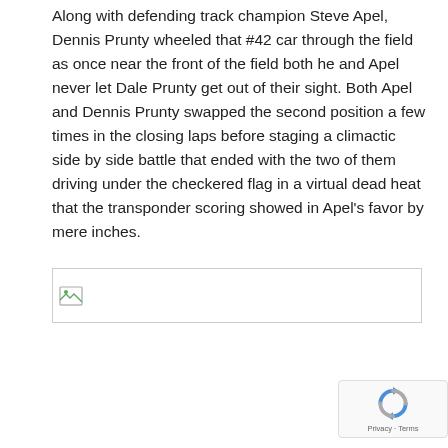Along with defending track champion Steve Apel, Dennis Prunty wheeled that #42 car through the field as once near the front of the field both he and Apel never let Dale Prunty get out of their sight. Both Apel and Dennis Prunty swapped the second position a few times in the closing laps before staging a climactic side by side battle that ended with the two of them driving under the checkered flag in a virtual dead heat that the transponder scoring showed in Apel's favor by mere inches.
[Figure (photo): A broken/missing image placeholder icon (small landscape icon) inside a bordered rectangle area]
[Figure (other): Google reCAPTCHA badge with recycle-arrows icon and 'Privacy - Terms' text]